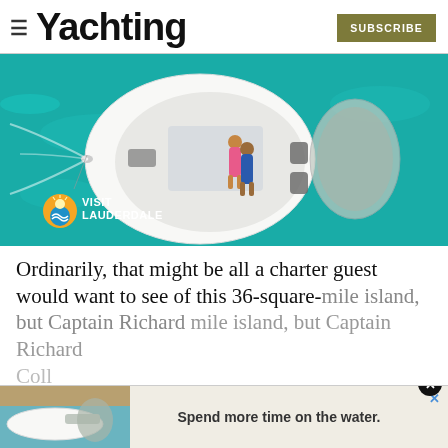≡ Yachting  SUBSCRIBE
[Figure (photo): Aerial view of a white yacht on turquoise water with two people sunbathing on the bow deck, with a Visit Lauderdale logo overlay in the bottom-left corner]
Ordinarily, that might be all a charter guest would want to see of this 36-square-mile island, but Captain Richard Coll… well from his previous watch on Mirabella
[Figure (photo): Bottom overlay advertisement showing a yacht on water with text 'Spend more time on the water.' and a close button]